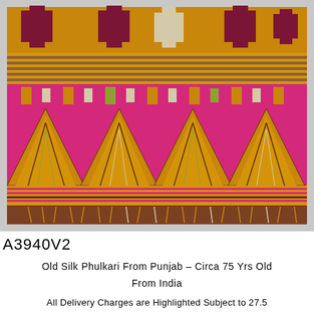[Figure (photo): Photograph of an Old Silk Phulkari textile from Punjab, India. The fabric displays intricate geometric embroidery patterns in bright colors including magenta/pink, golden orange, yellow-green, white, and brown. The textile shows cross-shaped motifs in the upper section and triangular/chevron patterns in the middle and lower sections. The bottom border is a plain brown fabric. The fabric is folded and draped, photographed against a grey/white background.]
A3940V2
Old Silk Phulkari From Punjab - Circa 75 Yrs Old
From India
All Delivery Charges are Highlighted Subject to 27.5